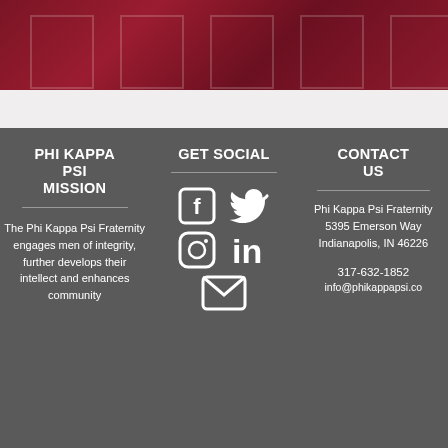[Figure (photo): Dark red/maroon building photo at the top of the page]
PHI KAPPA PSI MISSION
The Phi Kappa Psi Fraternity engages men of integrity, further develops their intellect and enhances community
GET SOCIAL
[Figure (infographic): Social media icons: Facebook, Twitter, Instagram, LinkedIn, Email]
CONTACT US
Phi Kappa Psi Fraternity 5395 Emerson Way Indianapolis, IN 46226
317-632-1852
info@phikappapsi.co